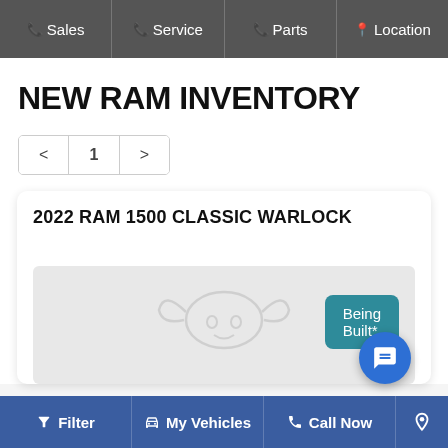Sales | Service | Parts | Location
NEW RAM INVENTORY
< 1 >
2022 RAM 1500 CLASSIC WARLOCK
Being Built*
[Figure (photo): Vehicle image placeholder with RAM logo watermark on gray background]
Filter | My Vehicles | Call Now